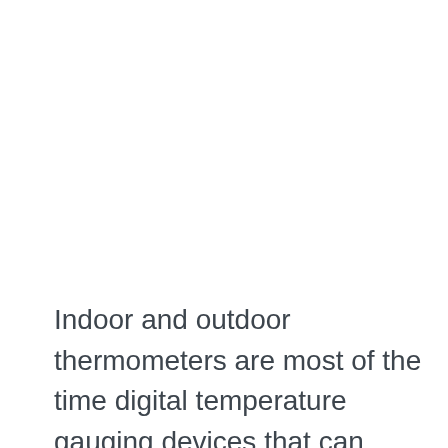Indoor and outdoor thermometers are most of the time digital temperature gauging devices that can measure the indoor and outdoor temperature at the same time and display it on an LED screen